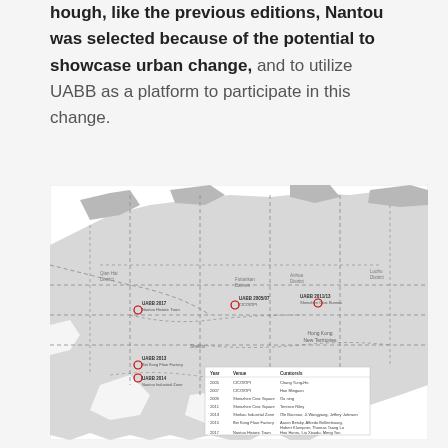hough, like the previous editions, Nantou was selected because of the potential to showcase urban change, and to utilize UABB as a platform to participate in this change.
[Figure (map): Map of Shenzhen/Nantou area showing UABB exhibition locations across multiple years: UABB 2017 Nantou Historic Town, UABB 2005/07 CICO/OPI, UABB 2011/13 Shenzhen Civic Bureau, UABB 2013 Bei Kong Floor Factory, UABB 2014 Nantou Industrial Zone. A legend in the lower right lists year, venue, and curators for each edition from 2005 to 2017.]